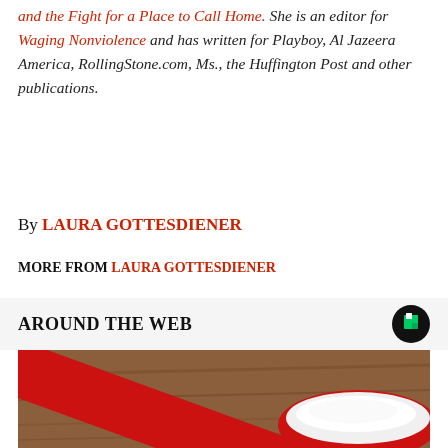and the Fight for a Place to Call Home. She is an editor for Waging Nonviolence and has written for Playboy, Al Jazeera America, RollingStone.com, Ms., the Huffington Post and other publications.
By LAURA GOTTESDIENER
MORE FROM LAURA GOTTESDIENER
AROUND THE WEB
[Figure (photo): Close-up photo of a red spoon or scoop filled with white powder, resting on a wooden surface.]